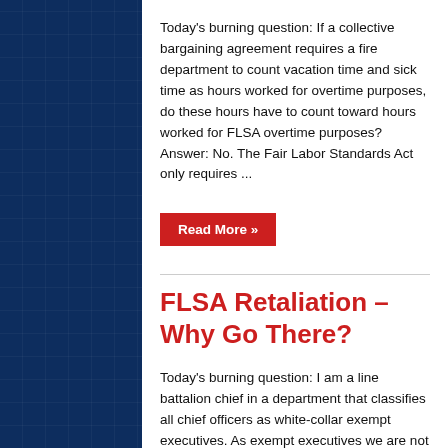Today's burning question: If a collective bargaining agreement requires a fire department to count vacation time and sick time as hours worked for overtime purposes, do these hours have to count toward hours worked for FLSA overtime purposes? Answer: No. The Fair Labor Standards Act only requires ...
Read More »
FLSA Retaliation – Why Go There?
Today's burning question: I am a line battalion chief in a department that classifies all chief officers as white-collar exempt executives. As exempt executives we are not eligible for